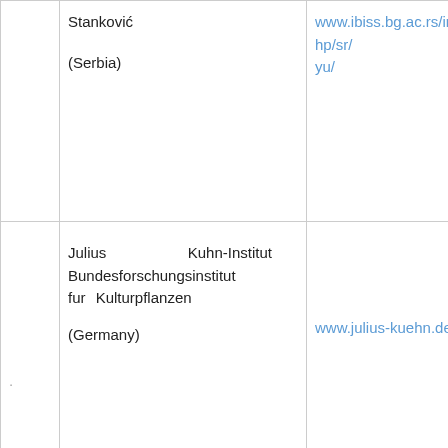|  | Institution | Website |
| --- | --- | --- |
|  | Stanković

(Serbia) | www.ibiss.bg.ac.rs/index.php/sr/yu/ |
| . | Julius Kuhn-Institut Bundesforschungsinstitut fur Kulturpflanzen

(Germany) | www.julius-kuehn.de/ |
|  | Graz University of Technology

(Austria) | www.tugraz.at |
|  |  |  |